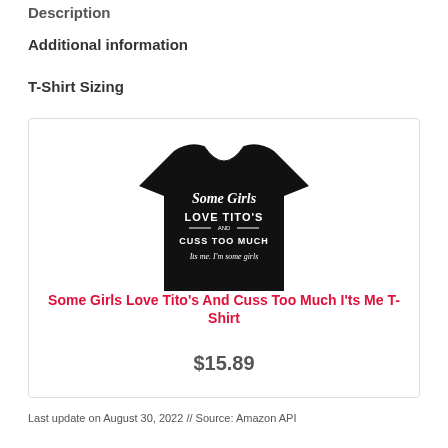Description
Additional information
T-Shirt Sizing
[Figure (photo): Black t-shirt with white text reading 'Some Girls LOVE TITO'S and CUSS TOO MUCH Its me. I'm some girls']
Some Girls Love Tito's And Cuss Too Much I'ts Me T-Shirt
$15.89
Last update on August 30, 2022 // Source: Amazon API